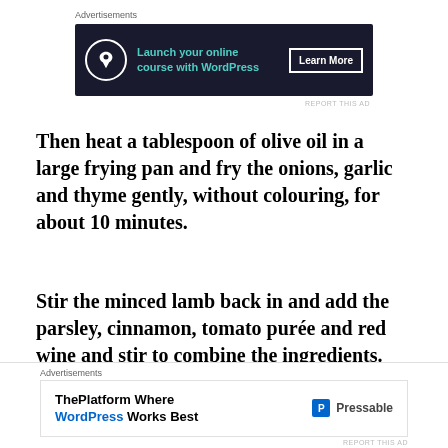[Figure (screenshot): Advertisement banner: dark background with bonsai tree icon, teal text 'Launch your online course with WordPress', white 'Learn More' button]
Then heat a tablespoon of olive oil in a large frying pan and fry the onions, garlic and thyme gently, without colouring, for about 10 minutes.
Stir the minced lamb back in and add the parsley, cinnamon, tomato purée and red wine and stir to combine the ingredients. Season
[Figure (screenshot): Advertisement banner: white background, 'ThePlatform Where WordPress Works Best' in bold with blue WordPress text, Pressable logo on right]